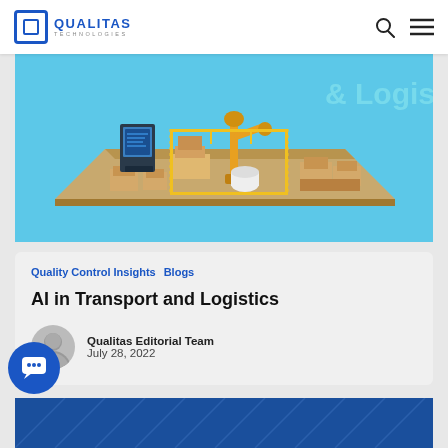QUALITAS TECHNOLOGIES
[Figure (illustration): Isometric illustration of a warehouse/logistics facility with a yellow robotic arm, pallets with boxes, on a cyan/blue background. Partially visible text '& Logist' in top right corner.]
Quality Control Insights   Blogs
AI in Transport and Logistics
Qualitas Editorial Team
July 28, 2022
[Figure (illustration): Blue banner section at the bottom with subtle diagonal line pattern, partially visible.]